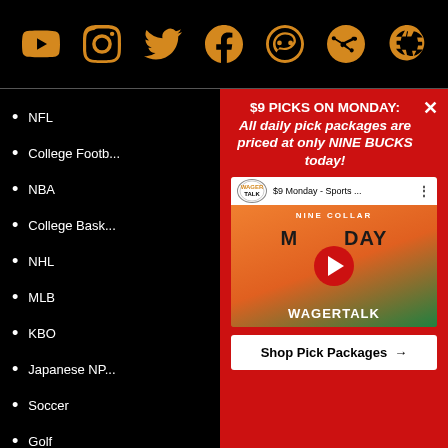[Figure (infographic): Social media icons: YouTube, Instagram, Twitter, Facebook, Pinterest, Reddit, TikTok in orange/amber color on black background]
NFL
College Football
NBA
College Basketball
NHL
MLB
KBO
Japanese NPB
Soccer
Golf
Boxing
NASCAR
$9 PICKS ON MONDAY: All daily pick packages are priced at only NINE BUCKS today!
[Figure (screenshot): YouTube video thumbnail for WagerTalk '$9 Monday - Sports...' featuring Nine Dollar Monday WAGERTALK branding with red play button]
Shop Pick Packages →